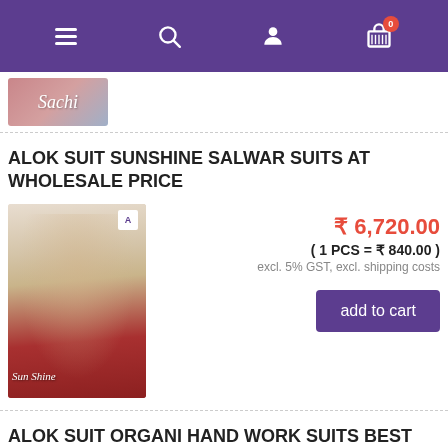[Figure (screenshot): Navigation bar with hamburger menu, search, user, and cart icons on purple background]
[Figure (logo): Sachi brand logo with pink/blue gradient background]
ALOK SUIT SUNSHINE SALWAR SUITS AT WHOLESALE PRICE
[Figure (photo): Alok Suit Sunshine salwar suit product image showing a model in beige and red salwar suit]
₹ 6,720.00
( 1 PCS = ₹ 840.00 )
excl. 5% GST, excl. shipping costs
add to cart
ALOK SUIT ORGANI HAND WORK SUITS BEST PRICE